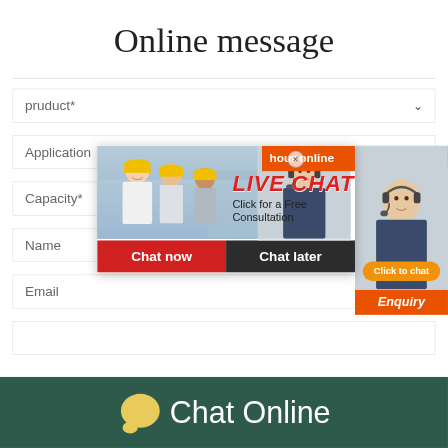Online message
pruduct*
Application
Capacity*
Name
Email
[Figure (screenshot): Live chat popup overlay showing construction workers in yellow hard hats on left, 'LIVE CHAT' in red italic text, 'Click for a Free Consultation' subtitle, 'Chat now' red button and 'Chat later' dark button at bottom. Right side shows customer service agent with headset. Orange 'hour online' banner top right. 'Click to chat' orange button. 'Enquiry' red bar at bottom right.]
[Figure (illustration): Chat Online footer bar with dark teal background, yellow speech bubble icon with three dots, and 'Chat Online' text in white]